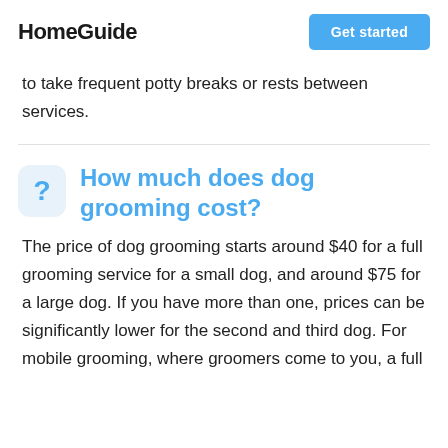HomeGuide   Get started
to take frequent potty breaks or rests between services.
How much does dog grooming cost?
The price of dog grooming starts around $40 for a full grooming service for a small dog, and around $75 for a large dog. If you have more than one, prices can be significantly lower for the second and third dog. For mobile grooming, where groomers come to you, a full